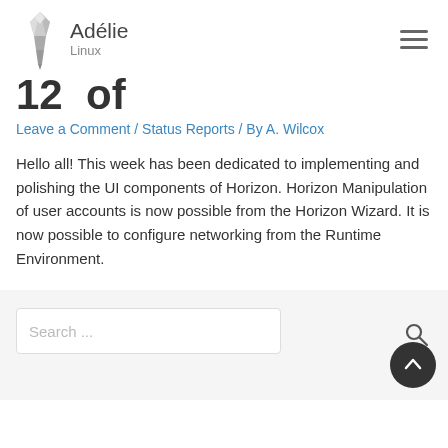Adélie Linux
12 of
Leave a Comment / Status Reports / By A. Wilcox
Hello all! This week has been dedicated to implementing and polishing the UI components of Horizon. Horizon Manipulation of user accounts is now possible from the Horizon Wizard. It is now possible to configure networking from the Runtime Environment.
Search ...